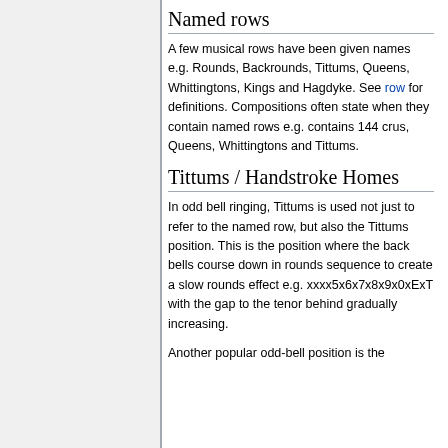Named rows
A few musical rows have been given names e.g. Rounds, Backrounds, Tittums, Queens, Whittingtons, Kings and Hagdyke. See row for definitions. Compositions often state when they contain named rows e.g. contains 144 crus, Queens, Whittingtons and Tittums.
Tittums / Handstroke Homes
In odd bell ringing, Tittums is used not just to refer to the named row, but also the Tittums position. This is the position where the back bells course down in rounds sequence to create a slow rounds effect e.g. xxxx5x6x7x8x9x0xExT with the gap to the tenor behind gradually increasing.
Another popular odd-bell position is the